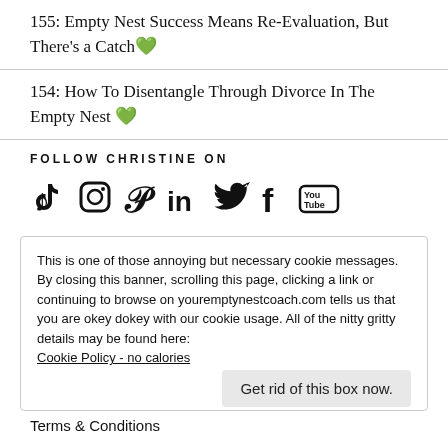155: Empty Nest Success Means Re-Evaluation, But There's a Catch 💚
154: How To Disentangle Through Divorce In The Empty Nest 💚
FOLLOW CHRISTINE ON
[Figure (infographic): Social media icons: TikTok, Instagram, Pinterest, LinkedIn, Twitter, Facebook, YouTube]
This is one of those annoying but necessary cookie messages. By closing this banner, scrolling this page, clicking a link or continuing to browse on youremptynestcoach.com tells us that you are okey dokey with our cookie usage. All of the nitty gritty details may be found here:
Cookie Policy - no calories
Get rid of this box now.
Terms & Conditions